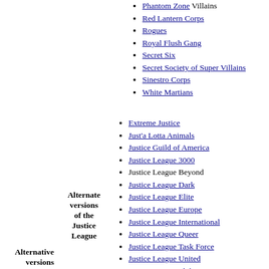Phantom Zone Villains
Red Lantern Corps
Rogues
Royal Flush Gang
Secret Six
Secret Society of Super Villains
Sinestro Corps
White Martians
Alternative versions
Alternate versions of the Justice League
Extreme Justice
Just'a Lotta Animals
Justice Guild of America
Justice League 3000
Justice League Beyond
Justice League Dark
Justice League Elite
Justice League Europe
Justice League International
Justice League Queer
Justice League Task Force
Justice League United
Justice Legion Alpha
Justice Lords
Super Buddies